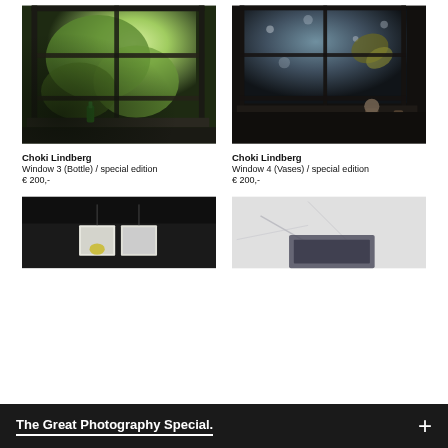[Figure (photo): Dark rustic window with green plants and a green bottle on the sill, moody natural light]
Choki Lindberg
Window 3 (Bottle) / special edition
€ 200,-
[Figure (photo): Dark atmospheric window with rain drops, dried leaves and ceramic vases/doll in foreground]
Choki Lindberg
Window 4 (Vases) / special edition
€ 200,-
[Figure (photo): Partially visible photo with dark background and small printed images hanging]
[Figure (photo): Partially visible white/light grey textured abstract photo]
The Great Photography Special.